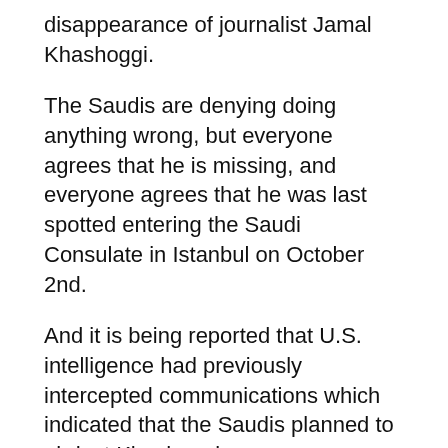disappearance of journalist Jamal Khashoggi.
The Saudis are denying doing anything wrong, but everyone agrees that he is missing, and everyone agrees that he was last spotted entering the Saudi Consulate in Istanbul on October 2nd.
And it is being reported that U.S. intelligence had previously intercepted communications which indicated that the Saudis planned to abduct Khashoggi.
It is believed that Khashoggi was dismembered after being abducted by the Saudis, and all of the major western powers have expressed major concern about his fate.  But the Saudis insist that they didn't have anything to do with